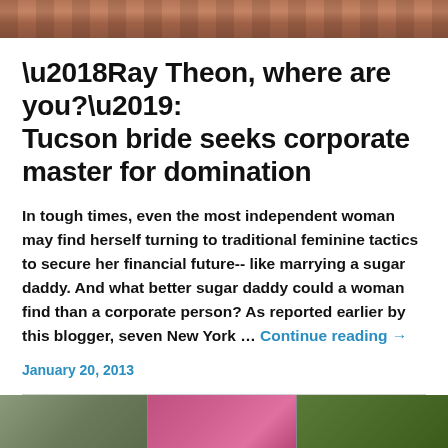[Figure (photo): Top cropped photo showing a brick wall texture in reddish-brown tones]
‘Ray Theon, where are you?’: Tucson bride seeks corporate master for domination
In tough times, even the most independent woman may find herself turning to traditional feminine tactics to secure her financial future-- like marrying a sugar daddy. And what better sugar daddy could a woman find than a corporate person? As reported earlier by this blogger, seven New York … Continue reading →
January 20, 2013
[Figure (photo): Bottom cropped photo showing three sections: left with building/trees, center with a person in pink/magenta clothing, right with trees]